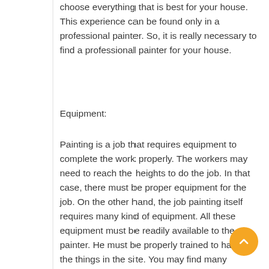choose everything that is best for your house. This experience can be found only in a professional painter. So, it is really necessary to find a professional painter for your house.
Equipment:
Painting is a job that requires equipment to complete the work properly. The workers may need to reach the heights to do the job. In that case, there must be proper equipment for the job. On the other hand, the job painting itself requires many kind of equipment. All these equipment must be readily available to the painter. He must be properly trained to handle the things in the site. You may find many painters for your home. But only a professional painter can appear with all these to the job site.